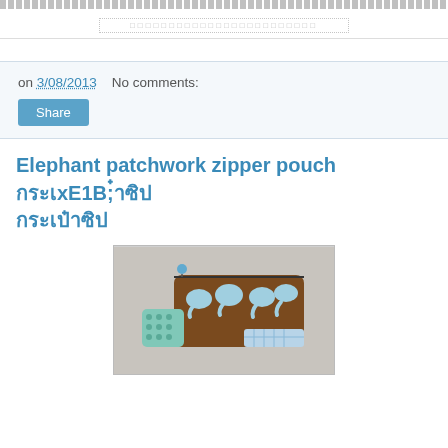[navigation bar with dotted/dashed pattern]
[sub-navigation: Thai script menu bar]
on 3/08/2013   No comments:
Share
Elephant patchwork zipper pouch กระเป๋าซิป
[Figure (photo): A patchwork zipper pouch with elephant motif fabric in brown with blue elephant print, combined with light blue polka dot and gingham check fabric, with a small bead zipper pull.]